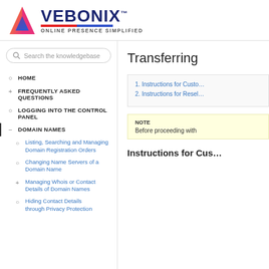[Figure (logo): Vebonix logo with colorful triangle and text VEBONIX TM, tagline ONLINE PRESENCE SIMPLIFIED]
[Figure (screenshot): Search the knowledgebase input box with magnifying glass icon]
HOME
FREQUENTLY ASKED QUESTIONS
LOGGING INTO THE CONTROL PANEL
DOMAIN NAMES
Listing, Searching and Managing Domain Registration Orders
Changing Name Servers of a Domain Name
Managing Whois or Contact Details of Domain Names
Hiding Contact Details through Privacy Protection
Transferring
1. Instructions for Customers
2. Instructions for Resellers
NOTE
Before proceeding with
Instructions for Customers